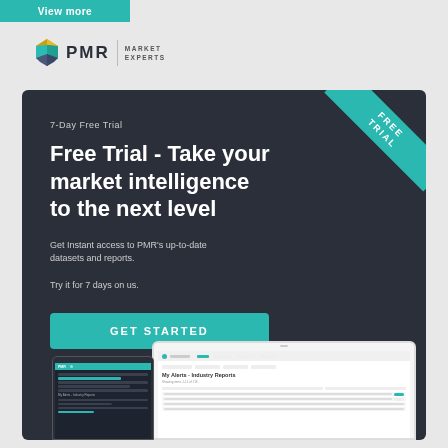View more
[Figure (logo): PMR Market Experts logo with geometric diamond icon]
7-Day Free Trial
Free Trial - Take your market intelligence to the next level
Get Instant access to PMR's up-to-date datasets and reports.
Try it for 7 days on us.
GET STARTED
[Figure (screenshot): Screenshots of PMR platform showing tablet and mobile views of My Alerts - Industry Reports dashboard]